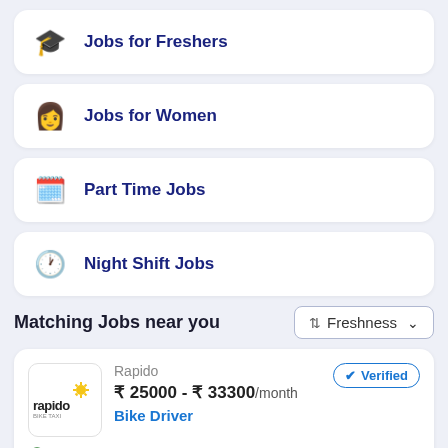Jobs for Freshers
Jobs for Women
Part Time Jobs
Night Shift Jobs
Matching Jobs near you
Freshness
Rapido
₹ 25000 - ₹ 33300/month
Bike Driver
Verified
BTM Layout, Karnataka